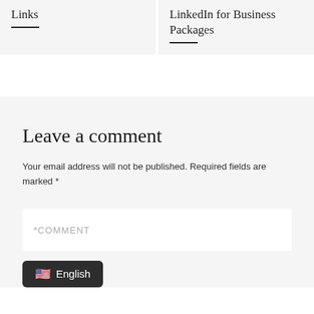Links
LinkedIn for Business Packages
Leave a comment
Your email address will not be published. Required fields are marked *
*COMMENT
English